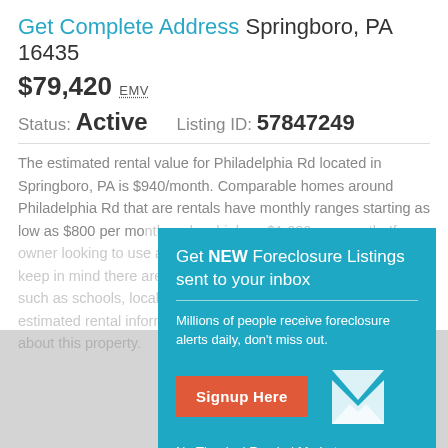Get Complete Address Springboro, PA 16435
$79,420 EMV
Status: Active   Listing ID: 57847249
The estimated rental value for Philadelphia Rd located in Springboro, PA is $940/month. Comparable homes around Philadelphia Rd that are rentals have monthly ranges starting as low as $800 per month and as high as $1,080 per month. If an owner looking to use this property as an investment and generate a return in the area of Springboro, PA, keep in mind there are many factors which influence rental rates such as schools, local amenities, etc. Sign in to see monthly estimated rental information as well as other vital information about this property.
[Figure (infographic): Popup overlay on teal background: 'Get NEW Foreclosure Listings sent to your inbox' with subtext 'Millions of people receive foreclosure alerts daily, don't miss out.' A red 'Signup Here' button and an envelope icon, followed by 'No Thanks | Remind Me Later' links.]